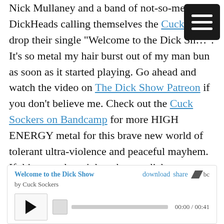Nick Mullaney and a band of not-so-merry DickHeads calling themselves the Cuck Sockers drop their single "Welcome to the Dick Show". It's so metal my hair burst out of my man bun as soon as it started playing. Go ahead and watch the video on The Dick Show Patreon if you don't believe me. Check out the Cuck Sockers on Bandcamp for more HIGH ENERGY metal for this brave new world of tolerant ultra-violence and peaceful mayhem. If this song doesn't knock your dick completely off, I'll eat my book.
[Figure (other): Embedded Bandcamp music player for 'Welcome to the Dick Show' by Cuck Sockers, showing play button, progress bar, and timestamp 00:00 / 00:41]